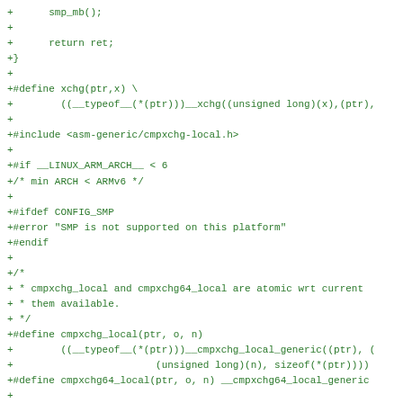+      smp_mb();
+
+      return ret;
+}
+
+#define xchg(ptr,x) \
+        ((__typeof__(*(ptr)))__xchg((unsigned long)(x),(ptr),
+
+#include <asm-generic/cmpxchg-local.h>
+
+#if __LINUX_ARM_ARCH__ < 6
+/* min ARCH < ARMv6 */
+
+#ifdef CONFIG_SMP
+#error "SMP is not supported on this platform"
+#endif
+
+/*
+ * cmpxchg_local and cmpxchg64_local are atomic wrt current
+ * them available.
+ */
+#define cmpxchg_local(ptr, o, n)
+        ((__typeof__(*(ptr)))__cmpxchg_local_generic((ptr), (
+                        (unsigned long)(n), sizeof(*(ptr))))
+#define cmpxchg64_local(ptr, o, n) __cmpxchg64_local_generic
+